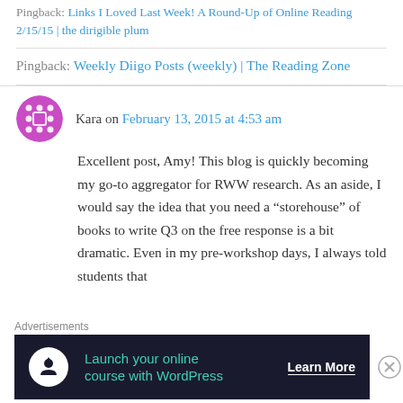Pingback: Links I Loved Last Week! A Round-Up of Online Reading 2/15/15 | the dirigible plum
Pingback: Weekly Diigo Posts (weekly) | The Reading Zone
Kara on February 13, 2015 at 4:53 am
Excellent post, Amy! This blog is quickly becoming my go-to aggregator for RWW research. As an aside, I would say the idea that you need a “storehouse” of books to write Q3 on the free response is a bit dramatic. Even in my pre-workshop days, I always told students that
Advertisements
[Figure (infographic): Advertisement banner: dark navy background with teal icon circle containing a person/upload icon, teal text reading 'Launch your online course with WordPress', and white underlined text 'Learn More']